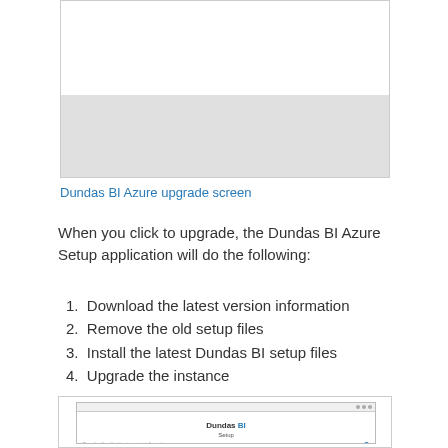[Figure (screenshot): Dundas BI Azure upgrade screen - a dialog window with a grey bar in the lower portion]
Dundas BI Azure upgrade screen
When you click to upgrade, the Dundas BI Azure Setup application will do the following:
1. Download the latest version information
2. Remove the old setup files
3. Install the latest Dundas BI setup files
4. Upgrade the instance
[Figure (screenshot): Dundas BI Setup window showing progress steps: Downloading the latest version information, Removing old set up files]